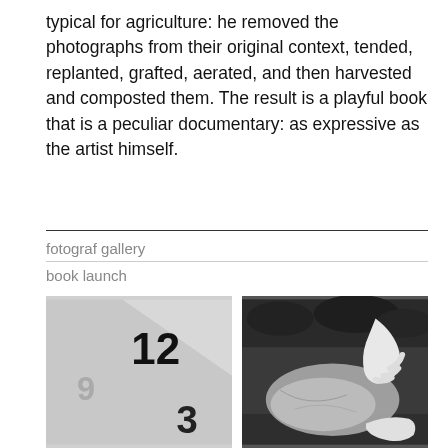typical for agriculture: he removed the photographs from their original context, tended, replanted, grafted, aerated, and then harvested and composted them. The result is a playful book that is a peculiar documentary: as expressive as the artist himself.
fotograf gallery
book launch
[Figure (photo): Black and white photo: clock face or number board showing digits 12, 9, and 3 on a light gray background]
[Figure (photo): Black and white photo: gloved hands holding or arranging a transparent plastic bag, with dark foliage in the background]